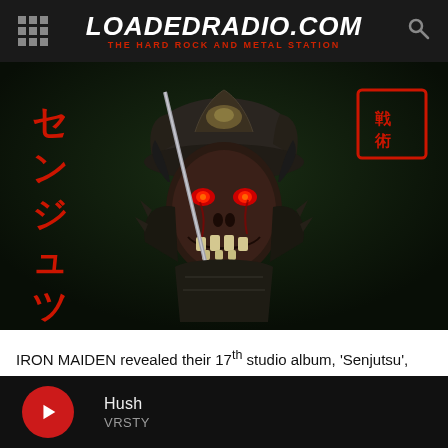LoadedRadio.com — The Hard Rock and Metal Station
[Figure (photo): Iron Maiden Senjutsu album artwork showing zombie samurai character Eddie in full samurai armor holding a sword, with Japanese characters on the left and right sides of the dark background image.]
IRON MAIDEN revealed their 17th studio album, 'Senjutsu', would be released on September 3 earlier this week which coincided with the release of an animated video for the effort's first single 'The Writing On The Wall'.
Record label for IRON MAIDEN's 'Senjutsu' album...
Hush — VRSTY